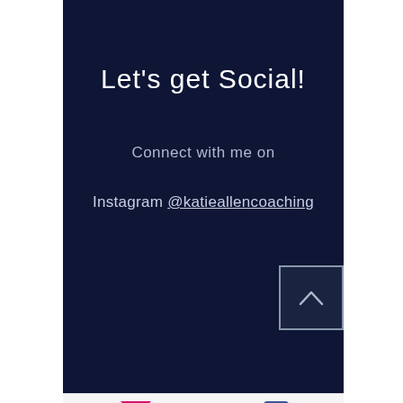Let's get Social!
Connect with me on
Instagram @katieallencoaching
[Figure (other): Up arrow button in a square border]
[Figure (other): Email envelope icon (pink/red) and Facebook icon (blue) in white footer bar]